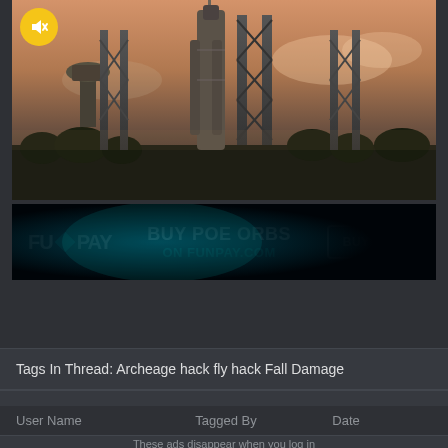[Figure (photo): Rocket on launch pad at dusk with towers, a water tower visible on the left, and orange/purple sky. A mute icon button (yellow circle with speaker-off symbol) is overlaid top-left.]
[Figure (screenshot): FunPay advertisement banner: FUNPAY logo on left with diamond icon, center text 'BUY POE ORBS ON FUNPAY.COM', and a 'BUY NOW' button on right. Dark background with teal glow.]
Tags In Thread: Archeage hack fly hack Fall Damage
[Radar & ESP] Teleport to XYZ/Sextant Coords
| User Name | Tagged By | Date |
| --- | --- | --- |
These ads disappear when you log in